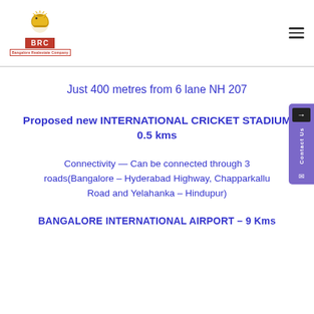[Figure (logo): BRC - Bangalore Realestate Company logo with a golden horse chess piece above a red BRC box and tagline text]
Just 400 metres from 6 lane NH 207
Proposed new INTERNATIONAL CRICKET STADIUM 0.5 kms
Connectivity — Can be connected through 3 roads(Bangalore – Hyderabad Highway, Chapparkallu Road and Yelahanka – Hindupur)
BANGALORE INTERNATIONAL AIRPORT – 9 Kms